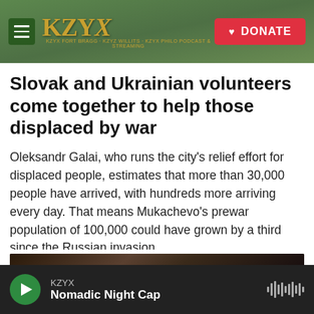KZYX — DONATE
Slovak and Ukrainian volunteers come together to help those displaced by war
Oleksandr Galai, who runs the city's relief effort for displaced people, estimates that more than 30,000 people have arrived, with hundreds more arriving every day. That means Mukachevo's prewar population of 100,000 could have grown by a third since the Russian invasion.
[Figure (photo): Dark interior photo, partial view of a person]
KZYX — Nomadic Night Cap (audio player bar)